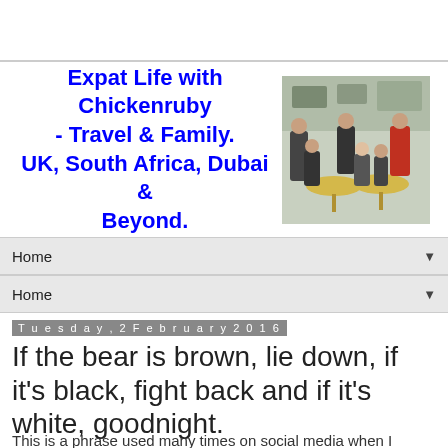Expat Life with Chickenruby - Travel & Family. UK, South Africa, Dubai & Beyond.
[Figure (photo): Group photo of several people seated and standing around round wooden tables outdoors in a car park area]
Home
Home
Tuesday, 2 February 2016
If the bear is brown, lie down, if it's black, fight back and if it's white, goodnight.
This is a phrase used many times on social media when I